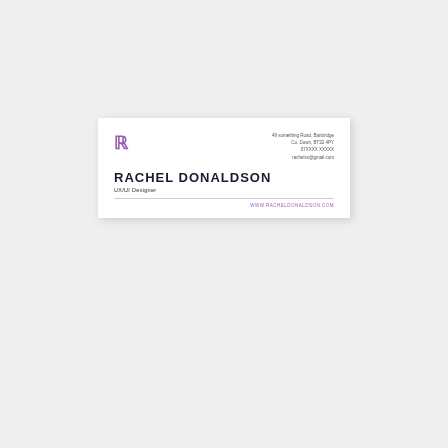[Figure (logo): Purple stylized R logo mark]
49 something Road, Banbridge
Co. Down, BT32 4PY
07XXXX XXXXX
rachelxx@gmail.com
RACHEL DONALDSON
UX/UI Designer
WWW.RACHELDONALDSON.COM